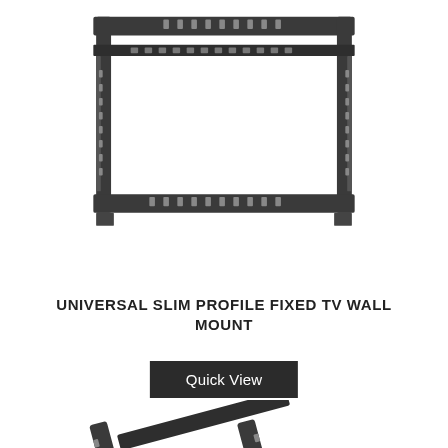[Figure (photo): A flat/fixed TV wall mount bracket shown from the front, rectangular frame with mounting holes, black metal finish, partially cropped at top]
UNIVERSAL SLIM PROFILE FIXED TV WALL MOUNT
Quick View
[Figure (photo): A tilting TV wall mount bracket shown at an angle, with two adjustable arms, black metal, partially cropped at bottom]